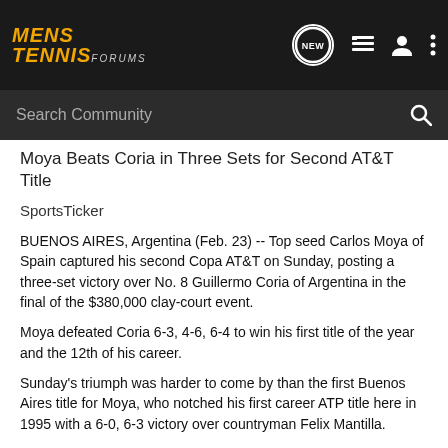MENS TENNIS FORUMS
Moya Beats Coria in Three Sets for Second AT&T Title
SportsTicker
BUENOS AIRES, Argentina (Feb. 23) -- Top seed Carlos Moya of Spain captured his second Copa AT&T on Sunday, posting a three-set victory over No. 8 Guillermo Coria of Argentina in the final of the $380,000 clay-court event.
Moya defeated Coria 6-3, 4-6, 6-4 to win his first title of the year and the 12th of his career.
Sunday's triumph was harder to come by than the first Buenos Aires title for Moya, who notched his first career ATP title here in 1995 with a 6-0, 6-3 victory over countryman Felix Mantilla.